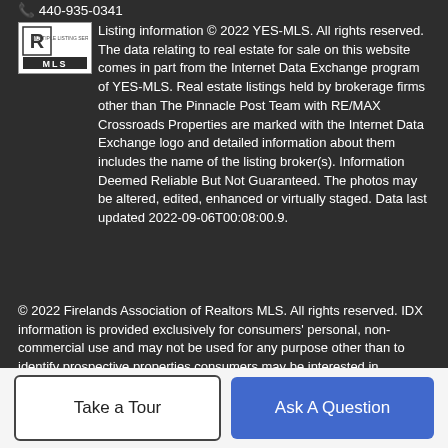440-935-0341
[Figure (logo): YES-MLS Realtor logo with MLS text]
Listing information © 2022 YES-MLS. All rights reserved. The data relating to real estate for sale on this website comes in part from the Internet Data Exchange program of YES-MLS. Real estate listings held by brokerage firms other than The Pinnacle Post Team with RE/MAX Crossroads Properties are marked with the Internet Data Exchange logo and detailed information about them includes the name of the listing broker(s). Information Deemed Reliable But Not Guaranteed. The photos may be altered, edited, enhanced or virtually staged. Data last updated 2022-09-06T00:08:00.9.
© 2022 Firelands Association of Realtors MLS. All rights reserved. IDX information is provided exclusively for consumers' personal, non-commercial use and may not be used for any purpose other than to identify prospective properties consumers may be interested in purchasing. Information is deemed reliable but is not guaranteed accurate by the MLS or The Pinnacle Post Team with
Take a Tour
Ask A Question